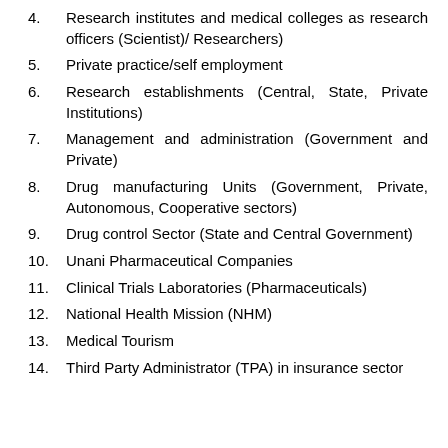4.  Research institutes and medical colleges as research officers (Scientist)/ Researchers)
5.  Private practice/self employment
6.  Research establishments (Central, State, Private Institutions)
7.  Management and administration (Government and Private)
8.  Drug manufacturing Units (Government, Private, Autonomous, Cooperative sectors)
9.  Drug control Sector (State and Central Government)
10.  Unani Pharmaceutical Companies
11.  Clinical Trials Laboratories (Pharmaceuticals)
12.  National Health Mission (NHM)
13.  Medical Tourism
14.  Third Party Administrator (TPA) in insurance sector